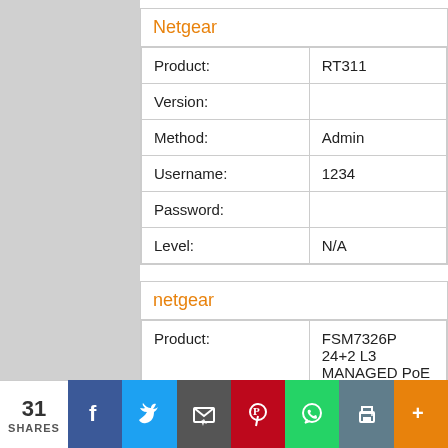| Field | Value |
| --- | --- |
| Netgear |  |
| Product: | RT311 |
| Version: |  |
| Method: | Admin |
| Username: | 1234 |
| Password: |  |
| Level: | N/A |
| Field | Value |
| --- | --- |
| netgear |  |
| Product: | FSM7326P 24+2 L3 MANAGED PoE Switch |
| Version: |  |
| Method: | Admin access (Telnet) |
| Username: | n/a |
| Password: | admin |
| Level: |  |